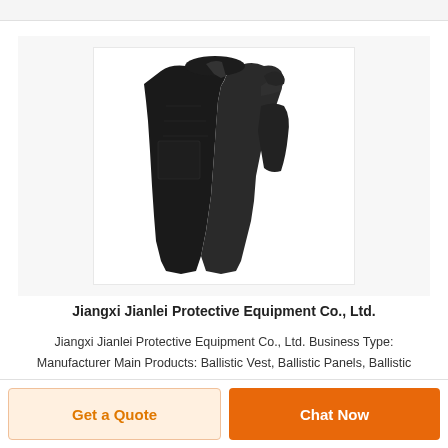[Figure (photo): Black ballistic/protective vest product photo shown from back/side angle, against white background]
Jiangxi Jianlei Protective Equipment Co., Ltd.
Jiangxi Jianlei Protective Equipment Co., Ltd. Business Type: Manufacturer Main Products: Ballistic Vest, Ballistic Panels, Ballistic
Get a Quote
Chat Now